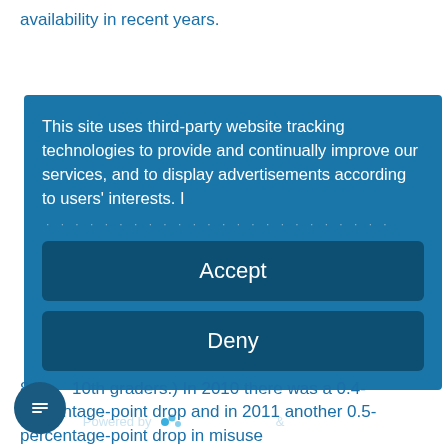availability in recent years.
This site uses third-party website tracking technologies to provide and continually improve our services, and to display advertisements according to users' interests. I
Accept
Deny
more
Powered by usercentrics & eRecht24
8th [icon] 10th graders.) In 2010 there was a 0.4-percentage-point drop and in 2011 another 0.5-percentage-point drop in misuse